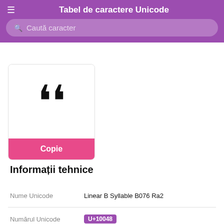Tabel de caractere Unicode
Caută caracter
[Figure (other): Large display of double angle quotation marks character »]
Copie
Informații tehnice
| Field | Value |
| --- | --- |
| Nume Unicode | Linear B Syllable B076 Ra2 |
| Numărul Unicode | U+10048 |
| HTML-code | &#65608; |
| CSS-cod | \10048 |
| Bloc | Linear B Syllabary |